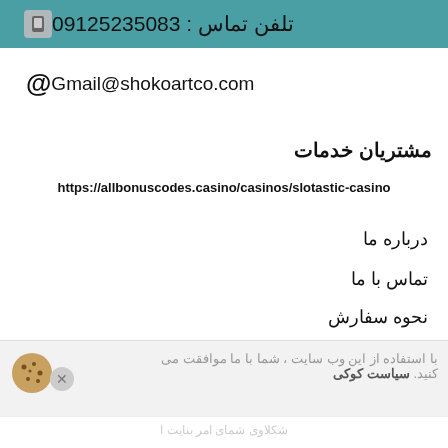تلفن تماس : 09125235083
Gmail@shokoartco.com
مشتریان خدمات
https://allbonuscodes.casino/casinos/slotastic-casino
درباره ما
تماس با ما
نحوه سفارش
محصولات جدیدترین
با استفاده از این وب سایت ، شما با ما موافقت می کنید. سیاست کوکی